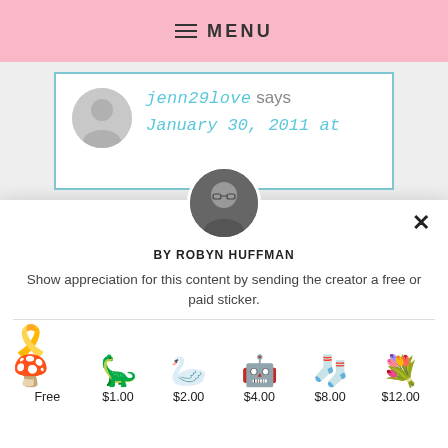MENU
[Figure (screenshot): Blog comment section showing user jenn29love with avatar, username in blue handwritten style, and date January 30, 2011 at, inside a blue-bordered white box on a gray background]
[Figure (screenshot): Modal popup showing profile photo of Robyn Huffman, byline BY ROBYN HUFFMAN, description text, and 6 sticker options: Free, $1.00, $2.00, $4.00, $8.00, $12.00]
BY ROBYN HUFFMAN
Show appreciation for this content by sending the creator a free or paid sticker.
Free
$1.00
$2.00
$4.00
$8.00
$12.00